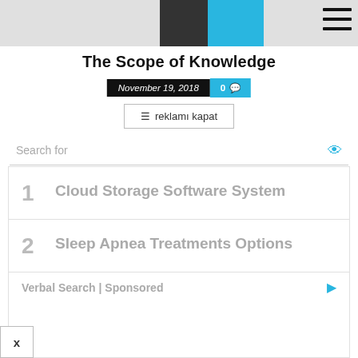The Scope of Knowledge
The Scope of Knowledge
November 19, 2018  0
≡ reklamı kapat
Search for
1  Cloud Storage Software System
2  Sleep Apnea Treatments Options
Verbal Search | Sponsored